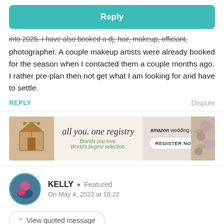[Figure (other): Teal Reply button]
into 2025. I have also booked a dj, hair, makeup, officiant, photographer. A couple makeup artists were already booked for the season when I contacted them a couple months ago. I rather pre-plan then not get what I am looking for and have to settle.
REPLY   Dispute
[Figure (other): Amazon wedding registry advertisement banner: 'all you. one registry. Brands you love. World's largest selection.' with REGISTER NOW button and floral imagery]
KELLY • Featured
On May 4, 2022 at 16:22
View quoted message
I think you are right on schedule, getting the big stuff out of